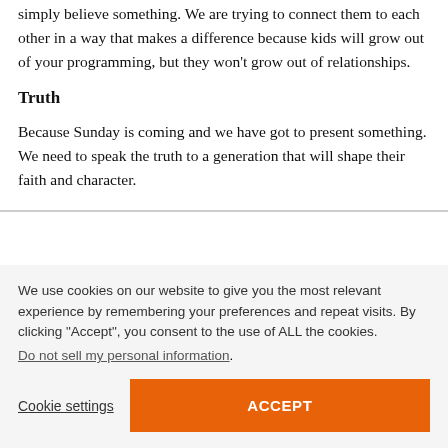simply believe something. We are trying to connect them to each other in a way that makes a difference because kids will grow out of your programming, but they won't grow out of relationships.
Truth
Because Sunday is coming and we have got to present something. We need to speak the truth to a generation that will shape their faith and character.
We use cookies on our website to give you the most relevant experience by remembering your preferences and repeat visits. By clicking “Accept”, you consent to the use of ALL the cookies. Do not sell my personal information.
Cookie settings
ACCEPT